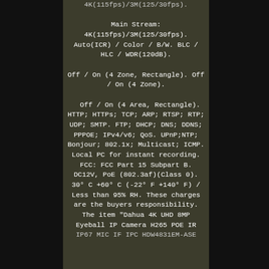Main Stream: 4K(115fps)/3M(125/30fps). Auto(ICR) / Color / B/W. BLC / HLC / WDR(120dB). Off / On (4 Zone, Rectangle). Off / On (4 Zone). Off / On (4 Area, Rectangle). HTTP; HTTPs; TCP; ARP; RTSP; RTP; UDP; SMTP. FTP; DHCP; DNS; DDNS; PPPOE; IPv4/v6; QoS. UPnP;NTP; Bonjour; 802.1x; Multicast; ICMP. Local PC for instant recording. FCC: FCC Part 15 Subpart B. DC12V, PoE (802.3af)(Class 0). 30° C +60° C (-22° F +140° F) / Less than 95% RH. These charges are the buyers responsibility. The item "Dahua 4K UHD 8MP Eyeball IP Camera H265 POE IR IP67 MIC IF IPC HDW4831EM-ASE